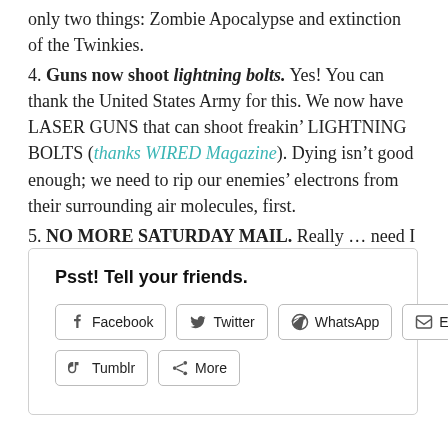only two things: Zombie Apocalypse and extinction of the Twinkies.
4. Guns now shoot lightning bolts. Yes! You can thank the United States Army for this. We now have LASER GUNS that can shoot freakin’ LIGHTNING BOLTS (thanks WIRED Magazine). Dying isn’t good enough; we need to rip our enemies’ electrons from their surrounding air molecules, first.
5. NO MORE SATURDAY MAIL. Really … need I say more???
Psst! Tell your friends.
Facebook | Twitter | WhatsApp | Email | Tumblr | More